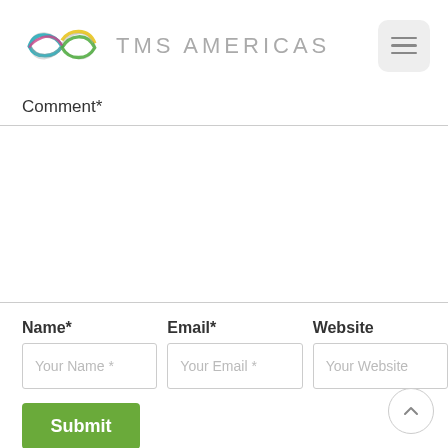TMS AMERICAS
Comment*
Name*
Email*
Website
Your Name *
Your Email *
Your Website
Submit